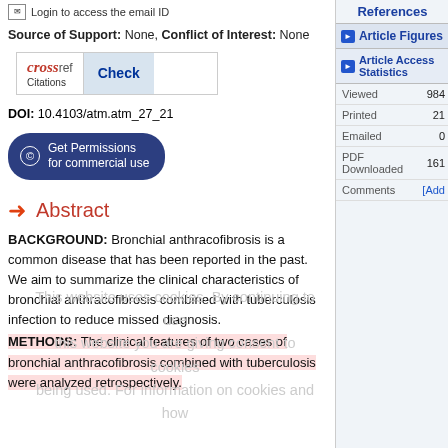Login to access the email ID
Source of Support: None, Conflict of Interest: None
[Figure (logo): CrossRef Citations Check button]
DOI: 10.4103/atm.atm_27_21
Get Permissions for commercial use
Abstract
BACKGROUND: Bronchial anthracofibrosis is a common disease that has been reported in the past. We aim to summarize the clinical characteristics of bronchial anthracofibrosis combined with tuberculosis infection to reduce missed diagnosis.
METHODS: The clinical features of two cases of bronchial anthracofibrosis combined with tuberculosis were analyzed retrospectively.
References
Article Figures
Article Access Statistics
|  |  |
| --- | --- |
| Viewed | 984 |
| Printed | 21 |
| Emailed | 0 |
| PDF Downloaded | 161 |
| Comments | [Add] |
Recommend this journal for your library